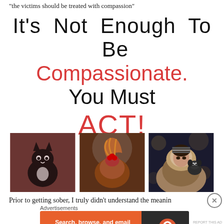“the victims should be treated with compassion”
It’s Not Enough To Be Compassionate. You Must ACT!
[Figure (photo): Three photos side by side: a black and white cat sitting on a red cushion, a chicken with raised wing, and a woman in winter coat holding a small dog]
Prior to getting sober, I truly didn’t understand the meanin
Advertisements
[Figure (screenshot): DuckDuckGo advertisement banner: orange left side with text 'Search, browse, and email with more privacy. All in One Free App', dark right side with DuckDuckGo logo]